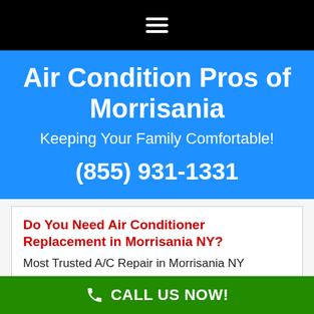[Figure (other): Black navigation bar with white hamburger menu icon (three horizontal lines)]
Air Condition Pros of Morrisania
Keeping Your Family Comfortable!
(855) 931-1331
Do You Need Air Conditioner Replacement in Morrisania NY?
Most Trusted A/C Repair in Morrisania NY
CALL US NOW!